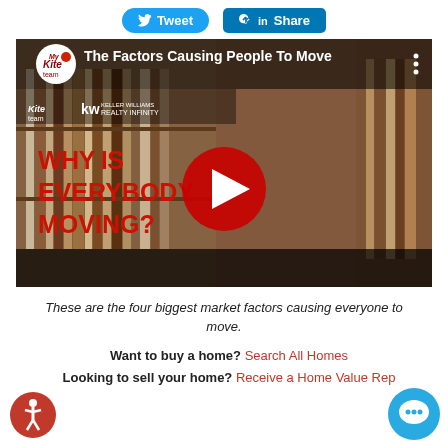[Figure (screenshot): Social sharing buttons row with Tweet (Twitter/blue) and Share (LinkedIn/blue) buttons]
[Figure (screenshot): YouTube video thumbnail showing a woman with curly hair. Text overlay reads 'WHY IS EVERYBODY MOVING?' with Kite Team and KW Realty Infinity branding. Video title: The Factors Causing People To Move. Red YouTube play button in center.]
These are the four biggest market factors causing everyone to move.
Want to buy a home? Search All Homes
Looking to sell your home? Receive a Home Value Re[port]
[Figure (illustration): Accessibility icon (wheelchair user in red circle) at bottom left]
[Figure (illustration): Blue chat/speech bubble icon at bottom right]